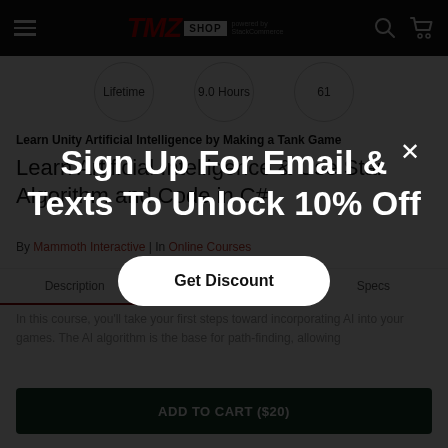TMZ SHOP powered by StackCommerce
[Figure (infographic): Three circular badges showing: Lifetime, 9.0 Hours, 61]
Learn Unity Artificial Intelligence by Making a Tank Game
Learn Artificial Intelligence & Use Star Algorithm and Code in C#
By Mammoth Interactive | In Online Courses
Description | Instructor | Specs
In this course, you'll take your first steps toward incorporating AI into your games. The AI algorithm is the base for path-finding, allowing
ADD TO CART ($20)
[Figure (screenshot): Modal overlay with dark background showing 'Sign Up For Email & Texts To Unlock 10% Off' with a close X button and a 'Get Discount' button]